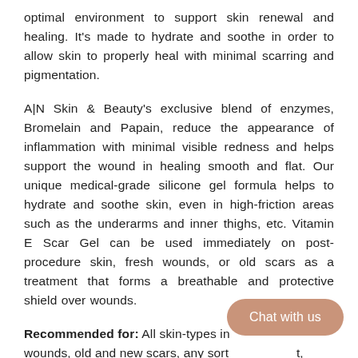optimal environment to support skin renewal and healing. It's made to hydrate and soothe in order to allow skin to properly heal with minimal scarring and pigmentation.
A|N Skin & Beauty's exclusive blend of enzymes, Bromelain and Papain, reduce the appearance of inflammation with minimal visible redness and helps support the wound in healing smooth and flat. Our unique medical-grade silicone gel formula helps to hydrate and soothe skin, even in high-friction areas such as the underarms and inner thighs, etc. Vitamin E Scar Gel can be used immediately on post-procedure skin, fresh wounds, or old scars as a treatment that forms a breathable and protective shield over wounds.
Recommended for: All skin-types in wounds, old and new scars, any sort cancer scarring on face, rhinoplasty, e
[Figure (other): Chat with us button overlay in muted terracotta/rose color, rounded pill shape]